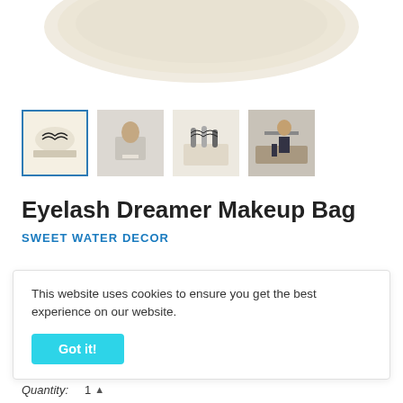[Figure (photo): Top portion of a cream/beige fabric makeup bag, cropped at top of page]
[Figure (photo): Row of four product thumbnail images: (1) eyelash dreamer makeup bag front view with blue border indicating selection, (2) person arranging items in bag, (3) makeup tools with bag, (4) person sitting on bed with bag]
Eyelash Dreamer Makeup Bag
SWEET WATER DECOR
This website uses cookies to ensure you get the best experience on our website.
Got it!
Quantity: